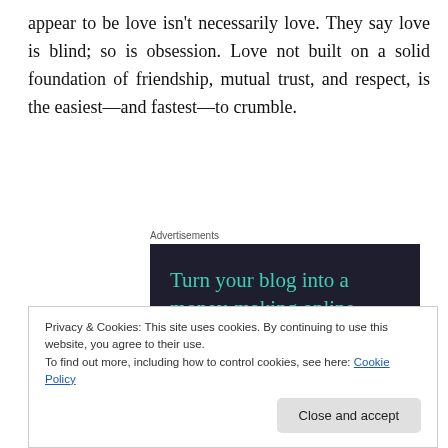appear to be love isn't necessarily love. They say love is blind; so is obsession. Love not built on a solid foundation of friendship, mutual trust, and respect, is the easiest—and fastest—to crumble.
Advertisements
[Figure (screenshot): Dark-background advertisement: 'Turn your blog into a money-making online course.' with a teal 'Learn More' button.]
Privacy & Cookies: This site uses cookies. By continuing to use this website, you agree to their use.
To find out more, including how to control cookies, see here: Cookie Policy
Close and accept